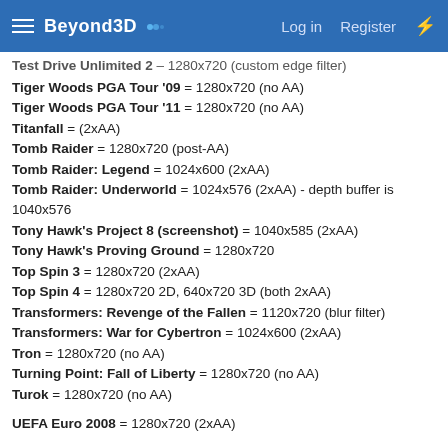Beyond3D — Log in  Register
Test Drive Unlimited 2 = 1280x720 (custom edge filter)
Tiger Woods PGA Tour '09 = 1280x720 (no AA)
Tiger Woods PGA Tour '11 = 1280x720 (no AA)
Titanfall = (2xAA)
Tomb Raider = 1280x720 (post-AA)
Tomb Raider: Legend = 1024x600 (2xAA)
Tomb Raider: Underworld = 1024x576 (2xAA) - depth buffer is 1040x576
Tony Hawk's Project 8 (screenshot) = 1040x585 (2xAA)
Tony Hawk's Proving Ground = 1280x720
Top Spin 3 = 1280x720 (2xAA)
Top Spin 4 = 1280x720 2D, 640x720 3D (both 2xAA)
Transformers: Revenge of the Fallen = 1120x720 (blur filter)
Transformers: War for Cybertron = 1024x600 (2xAA)
Tron = 1280x720 (no AA)
Turning Point: Fall of Liberty = 1280x720 (no AA)
Turok = 1280x720 (no AA)
UEFA Euro 2008 = 1280x720 (2xAA)